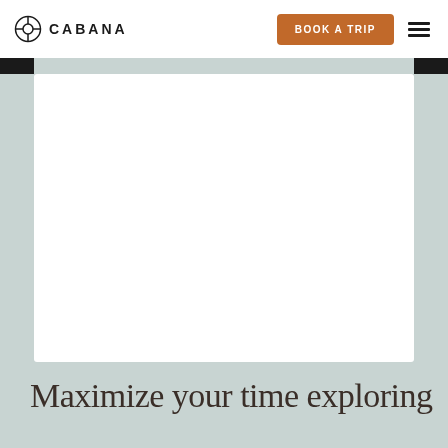CABANA — BOOK A TRIP
[Figure (illustration): White rectangular image card placeholder on sage-colored background]
Maximize your time exploring